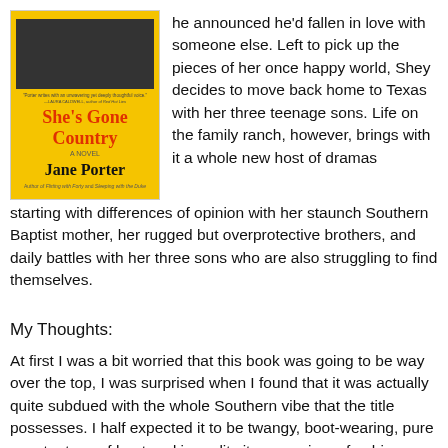[Figure (illustration): Book cover of 'She's Gone Country' by Jane Porter. Yellow background with red stylized title text and bold black author name. Top portion shows a dark photographic image.]
he announced he'd fallen in love with someone else. Left to pick up the pieces of her once happy world, Shey decides to move back home to Texas with her three teenage sons. Life on the family ranch, however, brings with it a whole new host of dramas starting with differences of opinion with her staunch Southern Baptist mother, her rugged but overprotective brothers, and daily battles with her three sons who are also struggling to find themselves.
My Thoughts:
At first I was a bit worried that this book was going to be way over the top, I was surprised when I found that it was actually quite subdued with the whole Southern vibe that the title possesses. I half expected it to be twangy, boot-wearing, pure country type of boot and in reality it was a nice refreshing read. I thoroughly enjoyed the characters, and